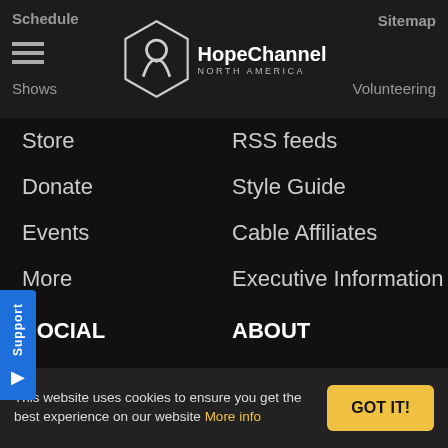Schedule | Sitemap | HopeChannel NORTH AMERICA | Shows | Volunteering
Store
Donate
Events
More
RSS feeds
Style Guide
Cable Affiliates
Executive Information
SOCIAL
Twitter
Facebook
Instagram
ABOUT
About
Contact
Donate
Ways to Watch
Terms of use
Privacy
Bible School
This website uses cookies to ensure you get the best experience on our website More info
GOT IT!